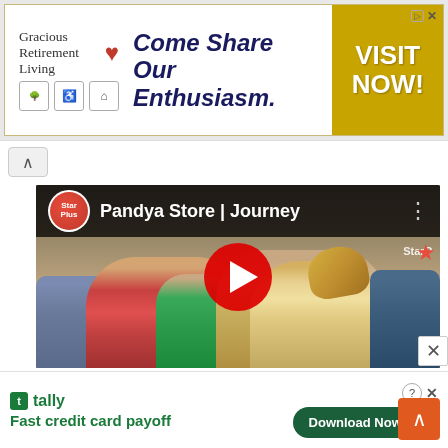[Figure (screenshot): Top banner advertisement for Gracious Retirement Living with text 'Come Share Our Enthusiasm.' and a gold 'VISIT NOW!' call-to-action button on the right side.]
[Figure (screenshot): YouTube video embed thumbnail showing 'Pandya Store | Journey' with StarPlus channel avatar. The video shows an Indian wedding scene with bride and groom in traditional attire. A red play button is centered over the thumbnail.]
[Figure (screenshot): Bottom banner advertisement for Tally app with text 'Fast credit card payoff' and a green 'Download Now' button with arrow.]